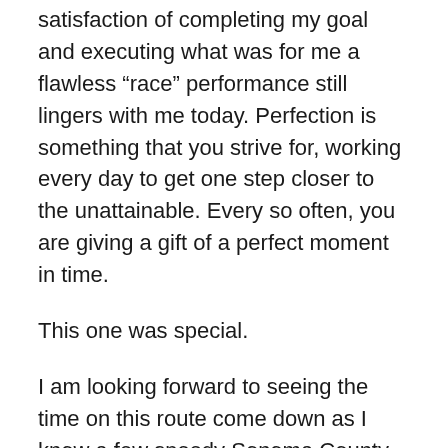satisfaction of completing my goal and executing what was for me a flawless “race” performance still lingers with me today. Perfection is something that you strive for, working every day to get one step closer to the unattainable. Every so often, you are giving a gift of a perfect moment in time.
This one was special.
I am looking forward to seeing the time on this route come down as I know a few speedy Sonoma County locals who could definitely lower this one.
But until then, I will proudly proclaim the King of the Mountain!:)
Link to FKT site to see official FKT HERE